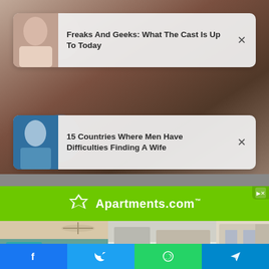[Figure (photo): Background photo of a woman posing]
Freaks And Geeks: What The Cast Is Up To Today
[Figure (photo): Photo of a man outdoors near water]
15 Countries Where Men Have Difficulties Finding A Wife
[Figure (logo): Apartments.com advertisement banner with green background and white logo]
[Figure (photo): Three apartment interior/exterior photos in a strip]
[Figure (infographic): Bottom share bar with Facebook, Twitter, WhatsApp, and Telegram icons]